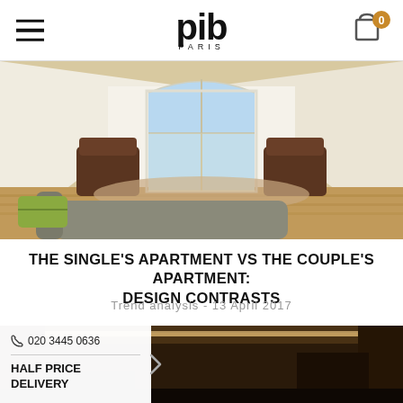pib PARIS — navigation header with hamburger menu and cart icon showing 0
[Figure (photo): Interior room with vaulted white ceiling, arched french doors letting in bright light, two wicker armchairs on an ornate rug, hardwood floors, and a textured sofa in the foreground]
THE SINGLE'S APARTMENT VS THE COUPLE'S APARTMENT: DESIGN CONTRASTS
Trend analysis - 13 April 2017
[Figure (photo): Dark interior room with warm LED strip lighting along ceiling, wood-paneled surfaces, moody ambiance]
020 3445 0636
HALF PRICE DELIVERY